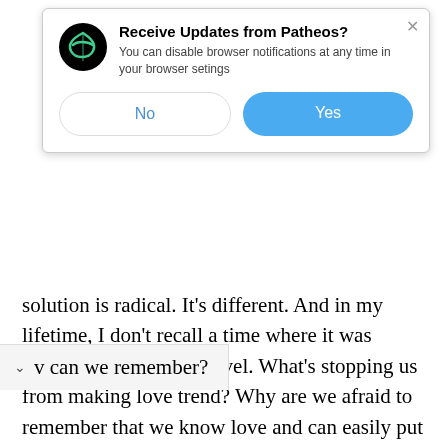[Figure (screenshot): Browser notification popup asking 'Receive Updates from Patheos?' with No and Yes buttons]
solution is radical. It's different. And in my lifetime, I don't recall a time where it was embraced on a global level. What's stopping us from making love trend? Why are we afraid to remember that we know love and can easily put it into practice to heal and unite the world?
v can we remember?